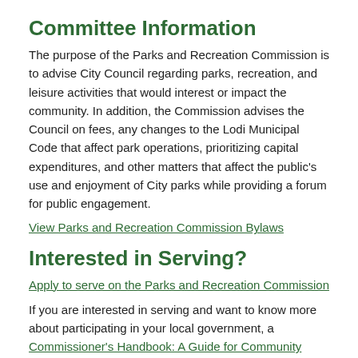Committee Information
The purpose of the Parks and Recreation Commission is to advise City Council regarding parks, recreation, and leisure activities that would interest or impact the community. In addition, the Commission advises the Council on fees, any changes to the Lodi Municipal Code that affect park operations, prioritizing capital expenditures, and other matters that affect the public's use and enjoyment of City parks while providing a forum for public engagement.
View Parks and Recreation Commission Bylaws
Interested in Serving?
Apply to serve on the Parks and Recreation Commission
If you are interested in serving and want to know more about participating in your local government, a Commissioner's Handbook: A Guide for Community